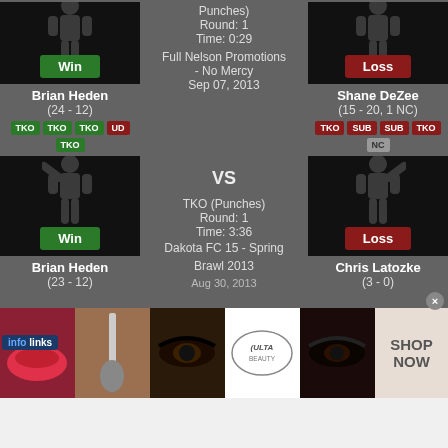[Figure (screenshot): MMA fight result: Brian Heden Win vs Shane DeZee Loss. Round 1, Time 0:29. Full Nelson Promotions - No Mercy, Sep 07, 2013. Method tags shown.]
[Figure (screenshot): MMA fight result: Brian Heden Win vs Chris Latozke Loss. TKO (Punches), Round 1, Time 3:36. Dakota FC 15 - Spring Brawl 2013.]
[Figure (advertisement): Ulta Beauty makeup advertisement with SHOP NOW call to action. Infolinks overlay at bottom.]